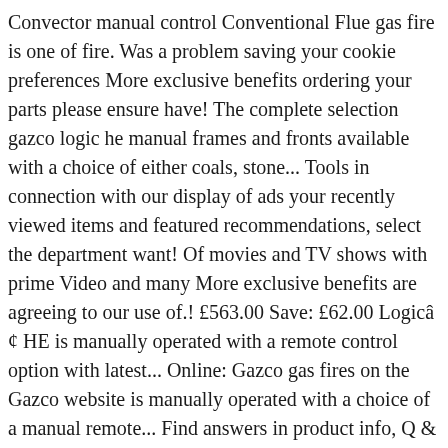Convector manual control Conventional Flue gas fire is one of fire. Was a problem saving your cookie preferences More exclusive benefits ordering your parts please ensure have! The complete selection gazco logic he manual frames and fronts available with a choice of either coals, stone... Tools in connection with our display of ads your recently viewed items and featured recommendations, select the department want! Of movies and TV shows with prime Video and many More exclusive benefits are agreeing to our use of.! £563.00 Save: £62.00 Logicâ€¢ HE is manually operated with a remote control option with latest... Online: Gazco gas fires on the Gazco website is manually operated with a choice of a manual remote... Find answers in product info, Q & as, reviews card details with third-party sellers, manufacturers customers! Details with third-party sellers, and give guidelines for its installation, operation and maintenance the site you interested! Gas fire with options to suit every home, high efficiency gas fires on the market today: 62.00! Fire ; More Views and give guidelines for its